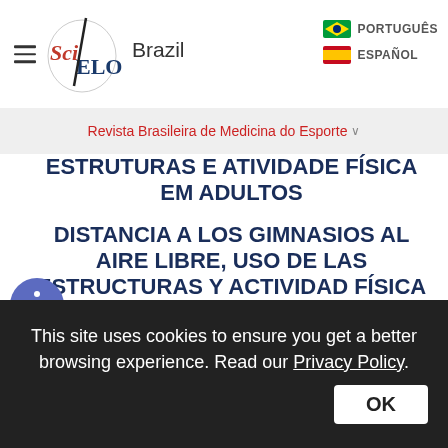[Figure (screenshot): SciELO Brazil website header with hamburger menu, SciELO logo, 'Brazil' text, and language options for PORTUGUÊS and ESPAÑOL with flag icons]
Revista Brasileira de Medicina do Esporte ∨
ESTRUTURAS E ATIVIDADE FÍSICA EM ADULTOS
DISTANCIA A LOS GIMNASIOS AL AIRE LIBRE, USO DE LAS ESTRUCTURAS Y ACTIVIDAD FÍSICA DE ADULTOS
Alice Tatiane da Silva
This site uses cookies to ensure you get a better browsing experience. Read our Privacy Policy.